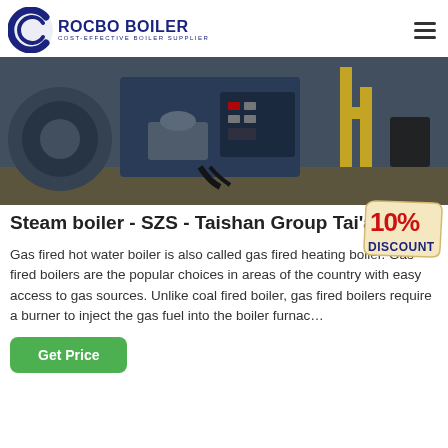ROCBO BOILER — COST-EFFECTIVE BOILER SUPPLIER
[Figure (photo): Industrial steam boiler unit in a facility showing blue metal casing, motor, control panel with yellow gas pipes in background]
Steam boiler - SZS - Taishan Group Tai'a
[Figure (other): 10% DISCOUNT badge/sticker overlay]
Gas fired hot water boiler is also called gas fired heating boiler. Gas fired boilers are the popular choices in areas of the country with easy access to gas sources. Unlike coal fired boiler, gas fired boilers require a burner to inject the gas fuel into the boiler furnac…
Get Price